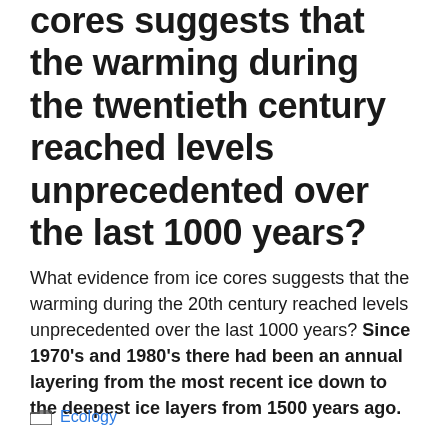cores suggests that the warming during the twentieth century reached levels unprecedented over the last 1000 years?
What evidence from ice cores suggests that the warming during the 20th century reached levels unprecedented over the last 1000 years? Since 1970's and 1980's there had been an annual layering from the most recent ice down to the deepest ice layers from 1500 years ago.
Ecology